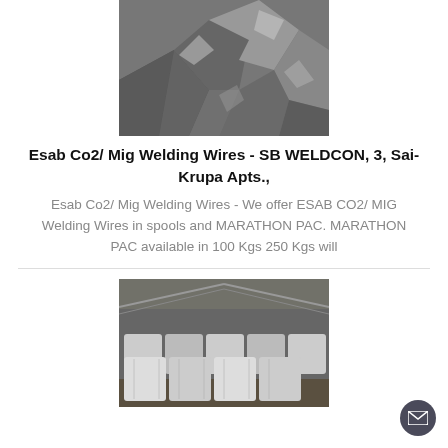[Figure (photo): Black and white photo of metallic/mineral rocks or chunks of raw material, possibly manganese or iron ore lumps.]
Esab Co2/ Mig Welding Wires - SB WELDCON, 3, Sai-Krupa Apts.,
Esab Co2/ Mig Welding Wires - We offer ESAB CO2/ MIG Welding Wires in spools and MARATHON PAC. MARATHON PAC available in 100 Kgs 250 Kgs will
[Figure (photo): Photo of large white bulk bags stacked inside a warehouse with a corrugated metal roof.]